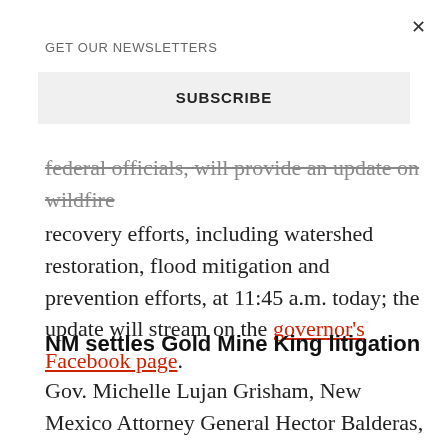×
GET OUR NEWSLETTERS
SUBSCRIBE
federal officials, will provide an update on wildfire recovery efforts, including watershed restoration, flood mitigation and prevention efforts, at 11:45 a.m. today; the update will stream on the governor's Facebook page.
NM settles Gold Mine King litigation
Gov. Michelle Lujan Grisham, New Mexico Attorney General Hector Balderas, Environment Secretary James Kenney and Natural Resources Trustee Maggie Hart Stebbins yesterday